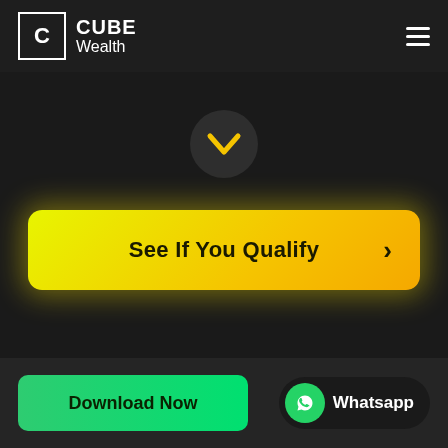CUBE Wealth
[Figure (illustration): Dark circular button with a yellow chevron/checkmark pointing downward]
See If You Qualify >
Download Now
Whatsapp